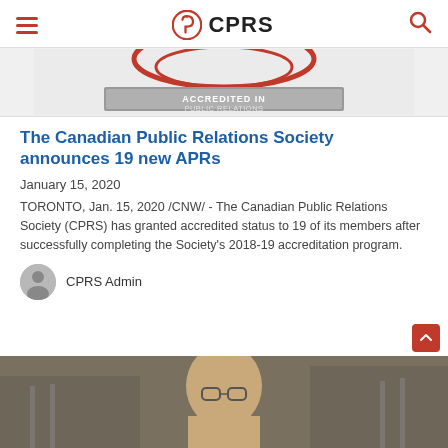CPRS
[Figure (logo): CPRS accreditation badge — red circular logo with text 'ACCREDITED IN PUBLIC RELATIONS' on a silver/grey banner]
The Canadian Public Relations Society announces 19 new APRs
January 15, 2020
TORONTO, Jan. 15, 2020 /CNW/ - The Canadian Public Relations Society (CPRS) has granted accredited status to 19 of its members after successfully completing the Society's 2018-19 accreditation program.
CPRS Admin
[Figure (photo): Partial photo of an older man wearing glasses, cropped at the bottom of the page]